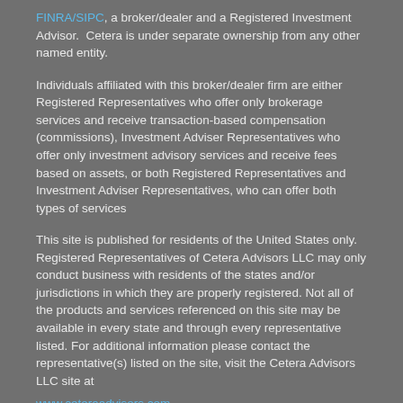FINRA/SIPC, a broker/dealer and a Registered Investment Advisor. Cetera is under separate ownership from any other named entity.
Individuals affiliated with this broker/dealer firm are either Registered Representatives who offer only brokerage services and receive transaction-based compensation (commissions), Investment Adviser Representatives who offer only investment advisory services and receive fees based on assets, or both Registered Representatives and Investment Adviser Representatives, who can offer both types of services
This site is published for residents of the United States only. Registered Representatives of Cetera Advisors LLC may only conduct business with residents of the states and/or jurisdictions in which they are properly registered. Not all of the products and services referenced on this site may be available in every state and through every representative listed. For additional information please contact the representative(s) listed on the site, visit the Cetera Advisors LLC site at www.ceteraadvisors.com